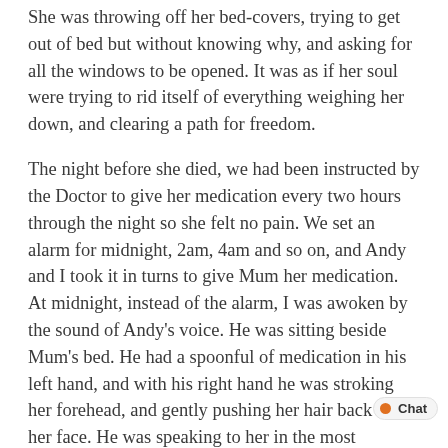She was throwing off her bed-covers, trying to get out of bed but without knowing why, and asking for all the windows to be opened. It was as if her soul were trying to rid itself of everything weighing her down, and clearing a path for freedom.
The night before she died, we had been instructed by the Doctor to give her medication every two hours through the night so she felt no pain. We set an alarm for midnight, 2am, 4am and so on, and Andy and I took it in turns to give Mum her medication. At midnight, instead of the alarm, I was awoken by the sound of Andy's voice. He was sitting beside Mum's bed. He had a spoonful of medication in his left hand, and with his right hand he was stroking her forehead, and gently pushing her hair back from her face. He was speaking to her in the most beautiful way. She felt so protected by him, as did I. The love and kindness he was treating her wit touched me so deeply, that I don't know how to